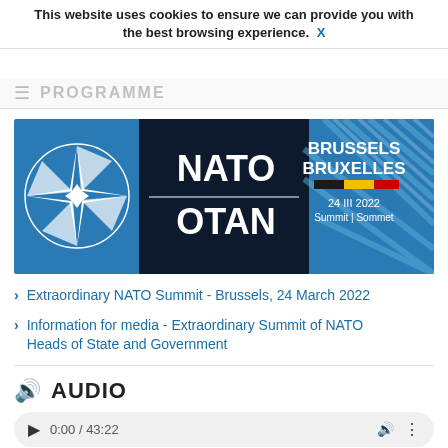NATO Spokesperson Oana Lungescu: Thank you very mu...
This website uses cookies to ensure we can provide you with the best browsing experience. X
PROGRAMME
[Figure (logo): NATO / OTAN Brussels Summit logo banner - Brussels Bruxelles, 24 III 2022, Summit | Sommet]
Extraordinary NATO Summit - Brussels, 24 March 2022
Information for media - Extraordinary Summit of NATO Heads of State and Government
AUDIO
0:00 / 43:22